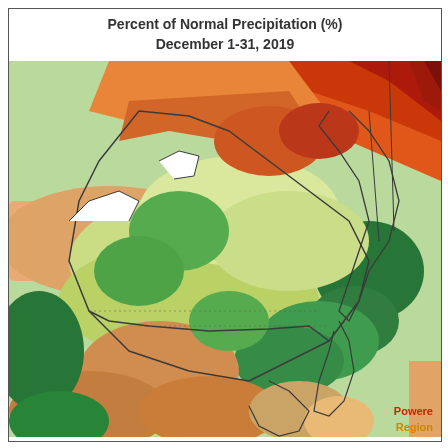Percent of Normal Precipitation (%)
December 1-31, 2019
[Figure (map): Choropleth map of the Northeastern United States showing percent of normal precipitation for December 1-31, 2019. Colors range from dark red (very below normal, <50%) through orange, yellow, light green, medium green, and dark green (above normal, >150%). The northern areas (northern New York, Vermont, New Hampshire, Maine) show red/orange indicating below-normal precipitation. Central and southern New England, mid-Atlantic show green indicating above-normal precipitation. The mid-Atlantic and Pennsylvania regions show mixed green and orange patches.]
Powered by
Region...